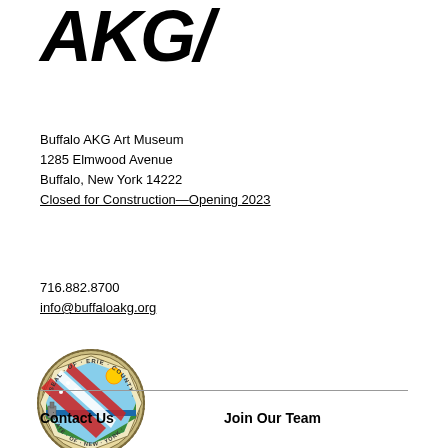AKG/
Buffalo AKG Art Museum
1285 Elmwood Avenue
Buffalo, New York 14222
Closed for Construction—Opening 2023
716.882.8700
info@buffaloakg.org
[Figure (logo): Erie County Seal - circular official seal with text 'SEAL OF ERIE COUNTY STATE OF NEW YORK', featuring American flag diagonal stripe, green landscape, water, and sun]
Contact Us
Join Our Team